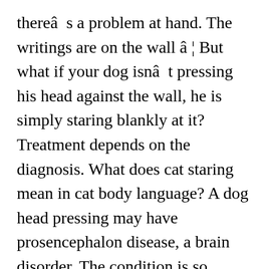thereâs a problem at hand. The writings are on the wall â¦ But what if your dog isnât pressing his head against the wall, he is simply staring blankly at it? Treatment depends on the diagnosis. What does cat staring mean in cat body language? A dog head pressing may have prosencephalon disease, a brain disorder. The condition is so common it has earned the moniker, âold dogâs disease.â. Do you ever just stare at the wall for hours, thinking and feeling everything, unable to move? He eats, goes potty outside and loves cuddles but I worry he is in pain sometimes. If you have dog staring at wall problems, then itâs understandable for you to be concerned about himself... Head pressing is due to Dementia with